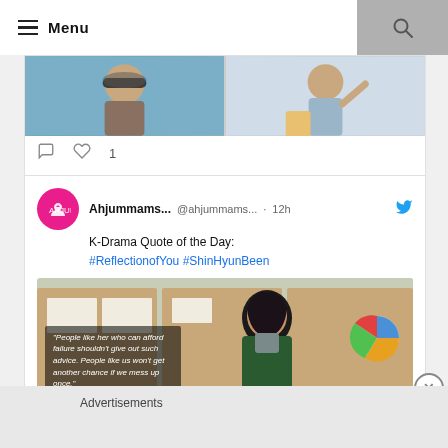Menu
[Figure (photo): Two photos of a woman with sunglasses and scarf outdoors]
1 (like count with comment icon)
[Figure (screenshot): Tweet from Ahjummams... @ahjummams... · 12h - K-Drama Quote of the Day: #ReflectionofYou #ShinHyunBeen, with image of a woman and quote overlay]
Ahjummams... @ahjummams... · 12h
K-Drama Quote of the Day:
#ReflectionofYou #ShinHyunBeen
"People like her who can afford failure shouldn't give out such advice. People like us won't get another chance if we mess up once."
Advertisements